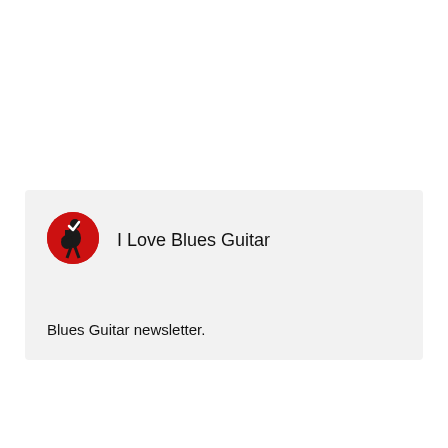[Figure (logo): I Love Blues Guitar circular logo with red background and black guitar player silhouette]
I Love Blues Guitar
Blues Guitar newsletter.